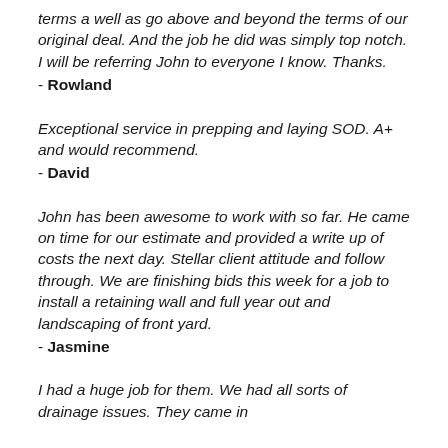terms a well as go above and beyond the terms of our original deal. And the job he did was simply top notch. I will be referring John to everyone I know. Thanks.
- Rowland
Exceptional service in prepping and laying SOD. A+ and would recommend.
- David
John has been awesome to work with so far. He came on time for our estimate and provided a write up of costs the next day. Stellar client attitude and follow through. We are finishing bids this week for a job to install a retaining wall and full year out and landscaping of front yard.
- Jasmine
I had a huge job for them. We had all sorts of drainage issues. They came in